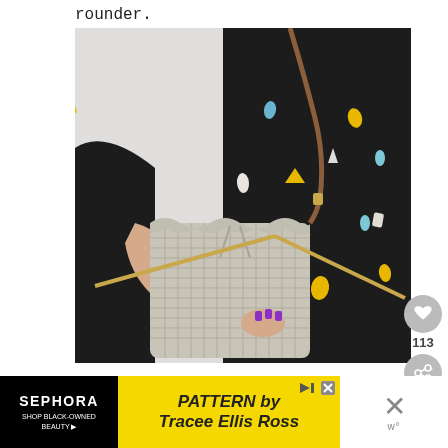rounder.
[Figure (photo): Person wearing a black patterned top holding a beige/cream crocheted bucket bag with a tan leather crossbody strap and gold hardware. The person has purple fingernails and holds a gold knitting needle.]
[Figure (other): Heart/like button (gray circle with heart icon) with count 113 below it, and a share button (gray circle with share icon) below that, on the right side of the page.]
[Figure (screenshot): Advertisement banner at the bottom. Left: Sephora black background with text 'SEPHORA' and 'SHOP BLACK-OWNED BEAUTY'. Center: Yellow background with 'PATTERN by Tracee Ellis Ross'. Right: White background with X close button.]